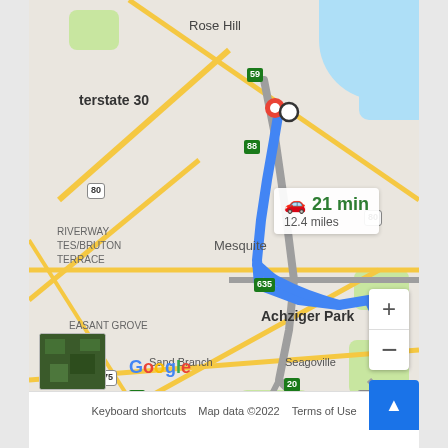[Figure (map): Google Maps screenshot showing driving directions from Interstate 30 to Achziger Park in the Dallas/Mesquite, Texas area. Two routes shown: blue highlighted route (21 min, 12.4 miles) and gray alternate route (20 min, 18.2 miles). Map shows neighborhoods including Rose Hill, Mesquite, Pleasant Grove, Sand Branch, and Seagoville. Highway shields visible for I-30, I-20, I-635, US-80, US-175. Zoom controls (+/-) on right side, satellite view thumbnail bottom left, Google logo and footer with 'Keyboard shortcuts', 'Map data ©2022', 'Terms of Use'.]